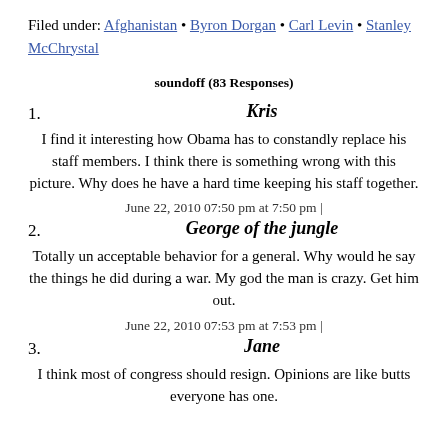Filed under: Afghanistan • Byron Dorgan • Carl Levin • Stanley McChrystal
soundoff (83 Responses)
1. Kris
I find it interesting how Obama has to constandly replace his staff members. I think there is something wrong with this picture. Why does he have a hard time keeping his staff together.
June 22, 2010 07:50 pm at 7:50 pm |
2. George of the jungle
Totally un acceptable behavior for a general. Why would he say the things he did during a war. My god the man is crazy. Get him out.
June 22, 2010 07:53 pm at 7:53 pm |
3. Jane
I think most of congress should resign. Opinions are like butts everyone has one.